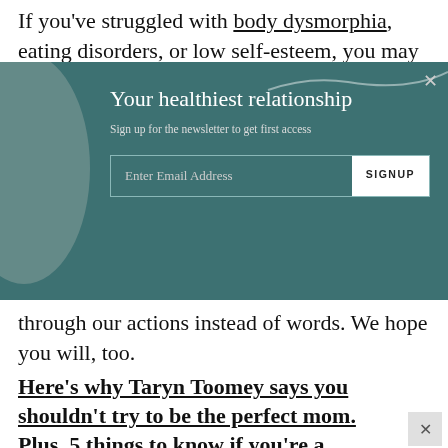If you've struggled with body dysmorphia, eating disorders, or low self-esteem, you may find it difficult
[Figure (screenshot): Newsletter signup overlay modal with teal/dark green background, decorative grey circle on left, title 'Your healthiest relationship', subtitle 'Sign up for the newsletter to get first access', email input field with SIGNUP button, and close X button in top right corner.]
through our actions instead of words. We hope you will, too.
Here's why Taryn Toomey says you shouldn't try to be the perfect mom. Plus, 5 things to know if you're a mother-to-be.